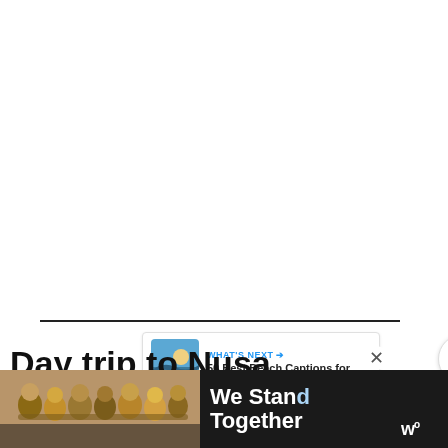[Figure (screenshot): White blank area at the top of the page representing a photo/image placeholder]
[Figure (illustration): Blue circular heart/like button with heart icon showing 559 likes, and a white circular share button with share icon]
[Figure (infographic): What's Next banner showing a beach thumbnail image with text '50 Best Beach Captions for...']
Day trip to Nusa Penida
Nusa Penida is a magical island off the coast
[Figure (photo): Advertisement bar at bottom showing people with arms around each other with text 'We Stand Together' in white on dark background, with a weather/news logo on the right]